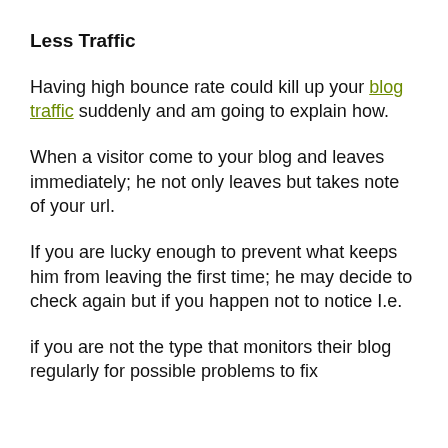Less Traffic
Having high bounce rate could kill up your blog traffic suddenly and am going to explain how.
When a visitor come to your blog and leaves immediately; he not only leaves but takes note of your url.
If you are lucky enough to prevent what keeps him from leaving the first time; he may decide to check again but if you happen not to notice I.e.
if you are not the type that monitors their blog regularly for possible problems to fix